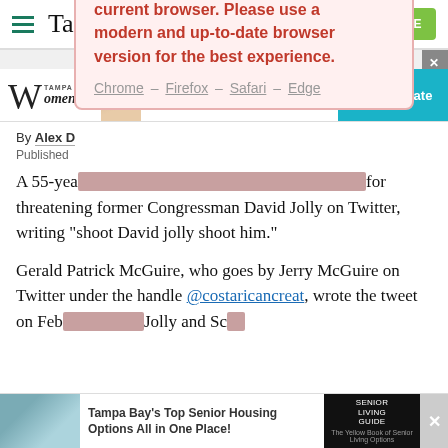Tampa Bay Times
[Figure (screenshot): Browser compatibility modal dialog with red text: 'This site no longer supports your current browser. Please use a modern and up-to-date browser version for the best experience.' with links to Chrome, Firefox, Safari, Edge]
By Alex [obscured]
Published [date obscured]
A 55-yea[r-old man was hit with a felony charg]e for threatening former Congressman David Jolly on Twitter, writing "shoot David jolly shoot him."
Gerald Patrick McGuire, who goes by Jerry McGuire on Twitter under the handle @costaricancreat, wrote the tweet on Feb[ruary — date obscured] Jolly and Sc[obscured]